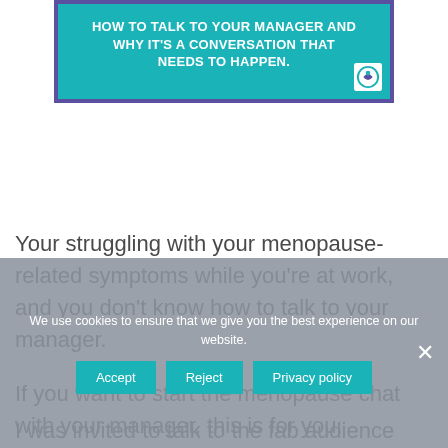[Figure (infographic): Teal/turquoise box with purple border showing text: 'HOW TO TALK TO YOUR MANAGER AND WHY IT'S A CONVERSATION THAT NEEDS TO HAPPEN.' with a small logo in the bottom right corner.]
Your struggling with your menopause-related symptoms while you're at work, and you don't know how to talk to your manager.
If you want to start the menopause chat with your manager, this is for you.
I was invited to talk to the fab audience
We use cookies to ensure that we give you the best experience on our website.